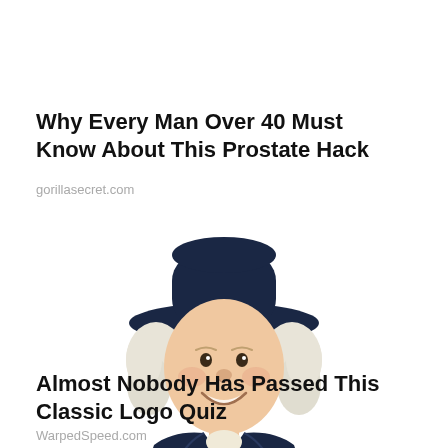Why Every Man Over 40 Must Know About This Prostate Hack
gorillasecret.com
[Figure (illustration): Illustrated character of the Quaker Oats man — a smiling colonial-era figure with white curly hair, dark navy blue wide-brimmed hat, dark navy coat, and white cravat/neckerchief at the collar.]
Almost Nobody Has Passed This Classic Logo Quiz
WarpedSpeed.com